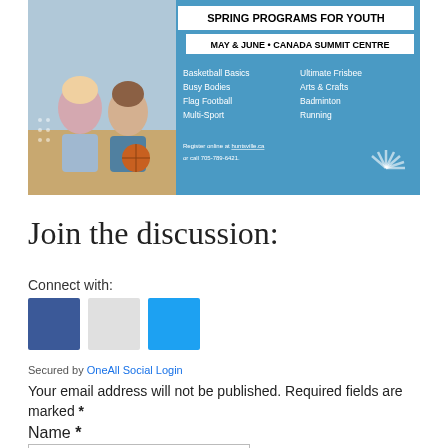[Figure (infographic): Spring Programs for Youth advertisement banner for Canada Summit Centre, May & June. Shows two children sitting on a gym floor (a girl and a boy holding a basketball). Lists programs: Basketball Basics, Busy Bodies, Flag Football, Multi-Sport, Ultimate Frisbee, Arts & Crafts, Badminton, Running. Register online at huntsville.ca or call 705-789-6421.]
Join the discussion:
Connect with:
[Figure (infographic): Three social login buttons: Facebook (blue/dark), Google (grey), Twitter (blue/light)]
Secured by OneAll Social Login
Your email address will not be published. Required fields are marked *
Name *